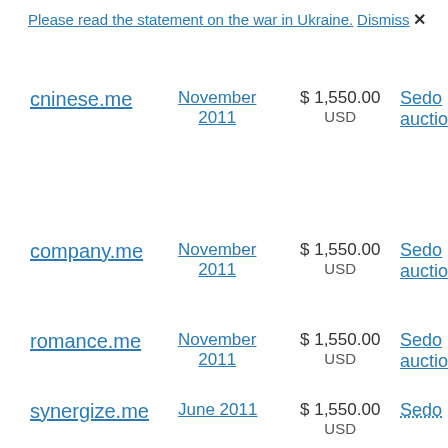Please read the statement on the war in Ukraine. Dismiss ✕
| Domain | Date | Price | Source |
| --- | --- | --- | --- |
| cninese.me | November 2011 | $ 1,550.00 USD | Sedo auction |
| company.me | November 2011 | $ 1,550.00 USD | Sedo auction |
| romance.me | November 2011 | $ 1,550.00 USD | Sedo auction |
| synergize.me | June 2011 | $ 1,550.00 USD | Sedo |